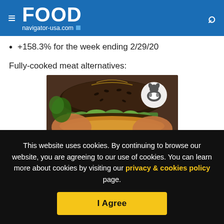FOOD navigator-usa.com
+158.3% for the week ending 2/29/20
Fully-cooked meat alternatives:
[Figure (photo): Hands holding a dark seeded burger bun sandwich with green filling, with a white circular logo (cow illustration) in the upper right corner]
This website uses cookies. By continuing to browse our website, you are agreeing to our use of cookies. You can learn more about cookies by visiting our privacy & cookies policy page.
I Agree